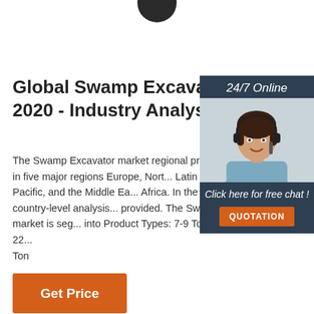[Figure (photo): Partial view of a dark circular logo or gear at top center of the page]
Global Swamp Excavator Ma... 2020 - Industry Analysis ...
The Swamp Excavator market regional presence showcased in five major regions Europe, North Latin America, Asia Pacific, and the Middle East Africa. In the report, the country-level analysis provided. The Swamp Excavator market is segmented into Product Types: 7-9 Ton; 12-14 Ton; 20-22 Ton
[Figure (photo): 24/7 Online chat widget with photo of a smiling woman wearing a headset, dark blue background, orange QUOTATION button and 'Click here for free chat!' text]
Get Price